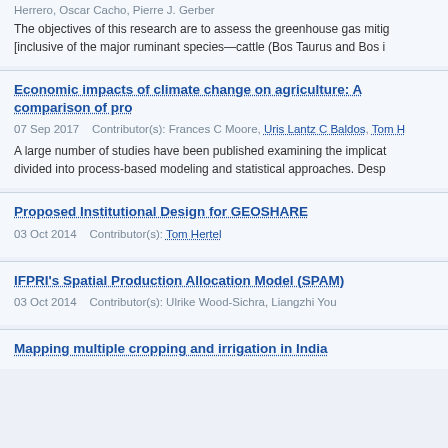Herrero, Oscar Cacho, Pierre J. Gerber
The objectives of this research are to assess the greenhouse gas mitig [inclusive of the major ruminant species—cattle (Bos Taurus and Bos i
Economic impacts of climate change on agriculture: A comparison of pro
07 Sep 2017    Contributor(s): Frances C Moore, Uris Lantz C Baldos, Tom H
A large number of studies have been published examining the implicat divided into process-based modeling and statistical approaches. Desp
Proposed Institutional Design for GEOSHARE
03 Oct 2014    Contributor(s): Tom Hertel
IFPRI's Spatial Production Allocation Model (SPAM)
03 Oct 2014    Contributor(s): Ulrike Wood-Sichra, Liangzhi You
Mapping multiple cropping and irrigation in India